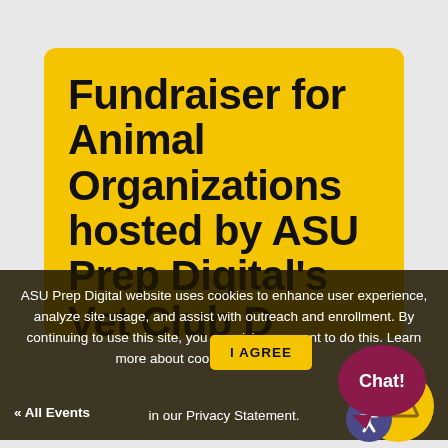Fundraiser for Animal Organizations hosted by ASU Prep Digital's Vet Club D...
ASU Prep Digital website uses cookies to enhance user experience, analyze site usage, and assist with outreach and enrollment. By continuing to use this site, you are giving consent to do this. Learn more about cookies on ASU … in our Privacy Statement.
« All Events